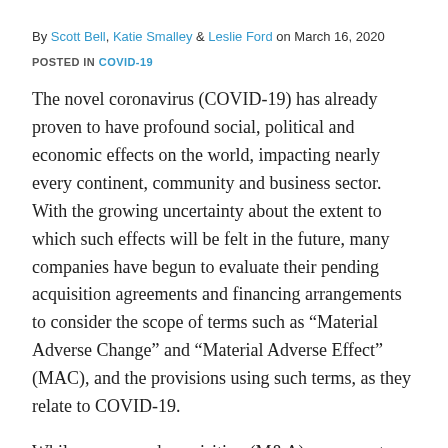By Scott Bell, Katie Smalley & Leslie Ford on March 16, 2020
POSTED IN COVID-19
The novel coronavirus (COVID-19) has already proven to have profound social, political and economic effects on the world, impacting nearly every continent, community and business sector.  With the growing uncertainty about the extent to which such effects will be felt in the future, many companies have begun to evaluate their pending acquisition agreements and financing arrangements to consider the scope of terms such as “Material Adverse Change” and “Material Adverse Effect” (MAC), and the provisions using such terms, as they relate to COVID-19.
While merger and acquisition (M&A) agreements and debt financing arrangements typically include MAC